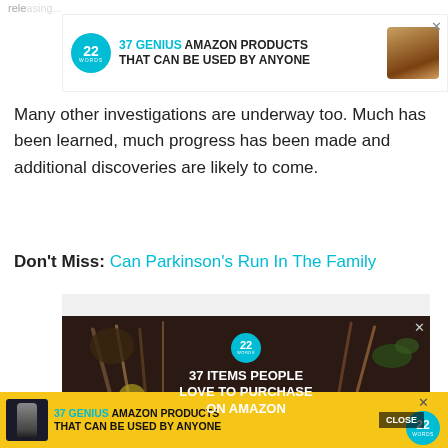rele...
[Figure (screenshot): Advertisement banner: '37 GENIUS AMAZON PRODUCTS THAT CAN BE USED BY ANYONE' with 22 Words logo circle and product image, with X close button]
Many other investigations are underway too. Much has been learned, much progress has been made and additional discoveries are likely to come.
Don't Miss: Can Parkinson's Run In The Family
[Figure (screenshot): Gray advertisement placeholder block]
[Figure (screenshot): Advertisement image: '37 ITEMS PEOPLE LOVE TO PURCHASE ON AMAZON' with dark background showing kitchen knives and cooking ingredients, with 22 Words logo and CLOSE button]
[Figure (screenshot): Bottom strip advertisement: '37 GENIUS AMAZON PRODUCTS THAT CAN BE USED BY ANYONE' on yellow background with product bottle image, 22 Words circle logo, and X close button]